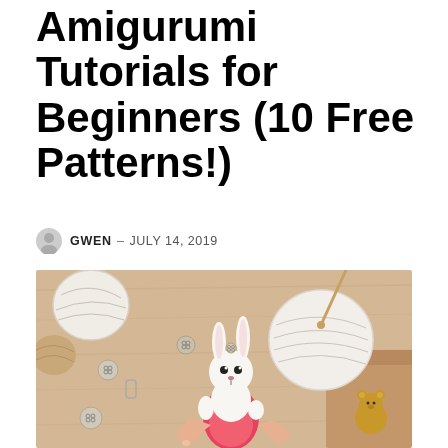Amigurumi Tutorials for Beginners (10 Free Patterns!)
GWEN – JULY 14, 2019
[Figure (photo): A person holding a crocheted amigurumi bunny doll wearing a pink/red outfit, surrounded by yarn balls, buttons, a crochet hook, and a small bear figure on a wooden surface.]